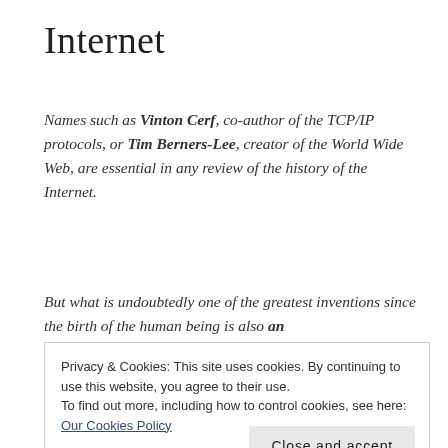Internet
Names such as Vinton Cerf, co-author of the TCP/IP protocols, or Tim Berners-Lee, creator of the World Wide Web, are essential in any review of the history of the Internet.
But what is undoubtedly one of the greatest inventions since the birth of the human being is also an
Privacy & Cookies: This site uses cookies. By continuing to use this website, you agree to their use.
To find out more, including how to control cookies, see here:
Our Cookies Policy
Close and accept
as a global network.